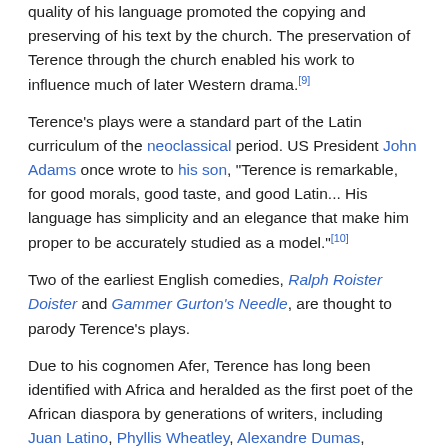quality of his language promoted the copying and preserving of his text by the church. The preservation of Terence through the church enabled his work to influence much of later Western drama.[9]
Terence's plays were a standard part of the Latin curriculum of the neoclassical period. US President John Adams once wrote to his son, "Terence is remarkable, for good morals, good taste, and good Latin... His language has simplicity and an elegance that make him proper to be accurately studied as a model."[10]
Two of the earliest English comedies, Ralph Roister Doister and Gammer Gurton's Needle, are thought to parody Terence's plays.
Due to his cognomen Afer, Terence has long been identified with Africa and heralded as the first poet of the African diaspora by generations of writers, including Juan Latino, Phyllis Wheatley, Alexandre Dumas, Langston Hughes and Maya Angelou.
American playwright Thornton Wilder based his novel The Woman of Andros on Terence's Andria.
Questions as to whether Terence received assistance in writing or was not the actual author have been debated over the ages, as described in the 1911 edition of the Encyclopædia Britannica: